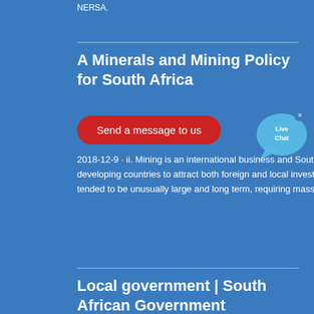NERSA.
A Minerals and Mining Policy for South Africa
Send a message to us
2018-12-9 · ii. Mining is an international business and South Africa has to compete against developed and developing countries to attract both foreign and local investment. Many mining projects in South Africa have tended to be unusually large and long term, requiring massive capital and entailing a high degree of risk. iii.
Local government | South African Government